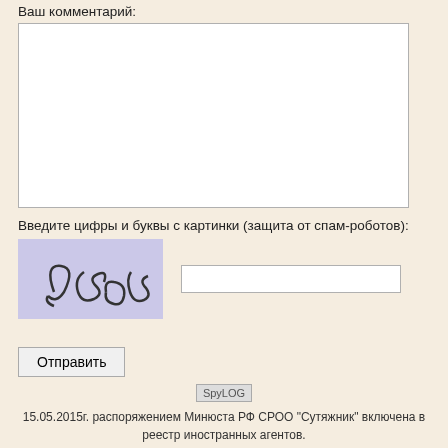Ваш комментарий:
[Figure (other): Large empty textarea input box for comment entry]
Введите цифры и буквы с картинки (защита от спам-роботов):
[Figure (other): CAPTCHA image showing handwritten-style characters '6522' on a purple/lavender background]
[Figure (other): Text input field for CAPTCHA entry]
Отправить
[Figure (logo): SpyLOG image/logo placeholder]
15.05.2015г. распоряжением Минюста РФ СРОО "Сутяжник" включена в реестр иностранных агентов.